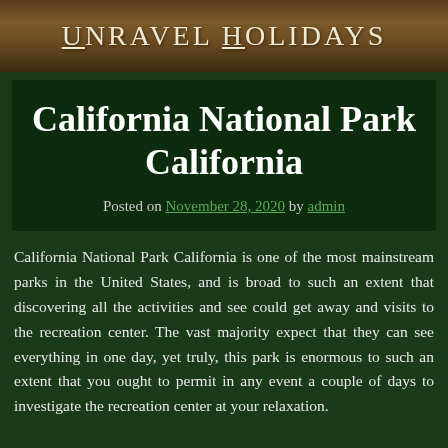Unravel Holidays
California National Park California
Posted on November 28, 2020 by admin
California National Park California is one of the most mainstream parks in the United States, and is broad to such an extent that discovering all the activities and see could get away and visits to the recreation center. The vast majority expect that they can see everything in one day, yet truly, this park is enormous to such an extent that you ought to permit in any event a couple of days to investigate the recreation center at your relaxation.